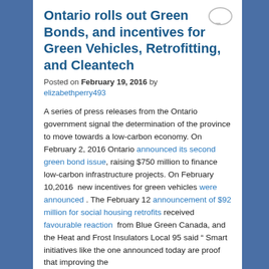Ontario rolls out Green Bonds, and incentives for Green Vehicles, Retrofitting, and Cleantech
Posted on February 19, 2016 by elizabethperry493
A series of press releases from the Ontario government signal the determination of the province to move towards a low-carbon economy. On February 2, 2016 Ontario announced its second green bond issue, raising $750 million to finance low-carbon infrastructure projects. On February 10,2016  new incentives for green vehicles were announced . The February 12 announcement of $92 million for social housing retrofits received favourable reaction  from Blue Green Canada, and the Heat and Frost Insulators Local 95 said " Smart initiatives like the one announced today are proof that improving the